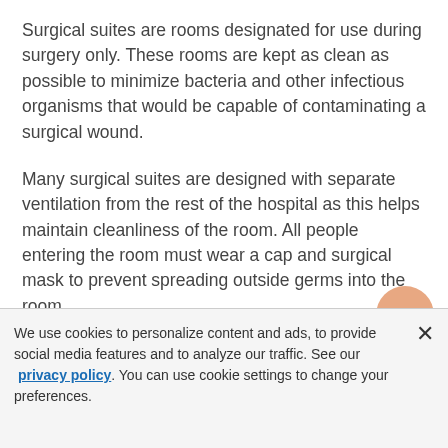Surgical suites are rooms designated for use during surgery only. These rooms are kept as clean as possible to minimize bacteria and other infectious organisms that would be capable of contaminating a surgical wound.
Many surgical suites are designed with separate ventilation from the rest of the hospital as this helps maintain cleanliness of the room. All people entering the room must wear a cap and surgical mask to prevent spreading outside germs into the room.
Surgical suites contain an operating table (sometimes more than one), surgical lighting
We use cookies to personalize content and ads, to provide social media features and to analyze our traffic. See our privacy policy. You can use cookie settings to change your preferences.